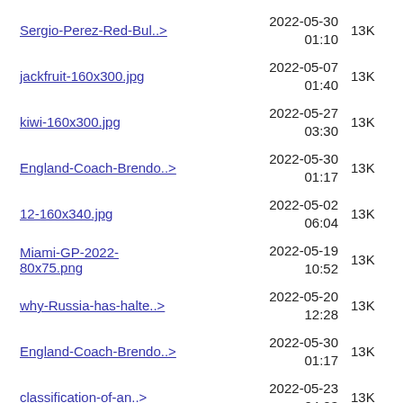Sergio-Perez-Red-Bul..>   2022-05-30 01:10   13K
jackfruit-160x300.jpg   2022-05-07 01:40   13K
kiwi-160x300.jpg   2022-05-27 03:30   13K
England-Coach-Brendo..>   2022-05-30 01:17   13K
12-160x340.jpg   2022-05-02 06:04   13K
Miami-GP-2022-80x75.png   2022-05-19 10:52   13K
why-Russia-has-halte..>   2022-05-20 12:28   13K
England-Coach-Brendo..>   2022-05-30 01:17   13K
classification-of-an..>   2022-05-23 04:23   13K
Prevalence-of-Anemia..>   2022-05-23 04:23   13K
why-Ford-wont-be-mak..>   2022-05-13 08:44   13K